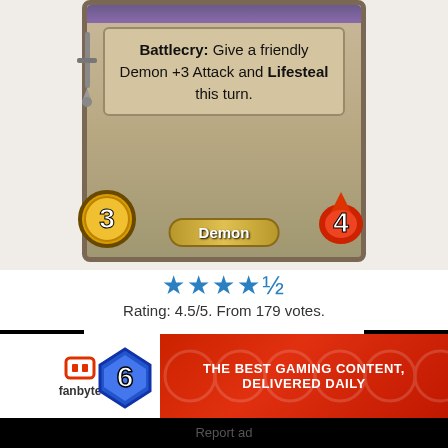[Figure (illustration): Hearthstone card partial view showing card text area with Battlecry ability text, attack badge showing 3, health badge showing 4, and Demon type label]
Battlecry: Give a friendly Demon +3 Attack and Lifesteal this turn.
Demon
★★★★☆
Rating: 4.5/5. From 179 votes.
[Figure (illustration): Hearthstone card showing a dragon creature with golden burst energy, mana cost 6 shown in blue gem badge at top left]
[Figure (advertisement): Fanbyte advertisement banner with logo on white left side and red right side with text THE BEST GAMING CONTENT, DELIVERED DAILY]
Report ad